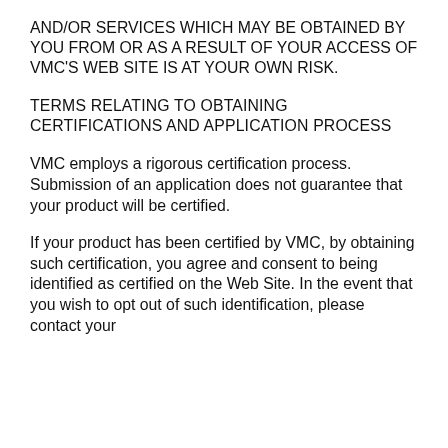AND/OR SERVICES WHICH MAY BE OBTAINED BY YOU FROM OR AS A RESULT OF YOUR ACCESS OF VMC'S WEB SITE IS AT YOUR OWN RISK.
TERMS RELATING TO OBTAINING CERTIFICATIONS AND APPLICATION PROCESS
VMC employs a rigorous certification process. Submission of an application does not guarantee that your product will be certified.
If your product has been certified by VMC, by obtaining such certification, you agree and consent to being identified as certified on the Web Site. In the event that you wish to opt out of such identification, please contact your